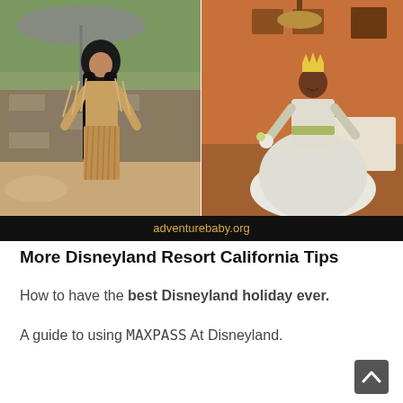[Figure (photo): Two-panel photo: left side shows a woman dressed as Pocahontas in a fringed tan dress with long dark hair standing outdoors under an umbrella; right side shows a woman dressed as Princess Tiana in a white ball gown with a crown, smiling in a restaurant setting. A black banner at the bottom reads 'adventurebaby.org' in gold text.]
More Disneyland Resort California Tips
How to have the best Disneyland holiday ever.
A guide to using MAXPASS At Disneyland.